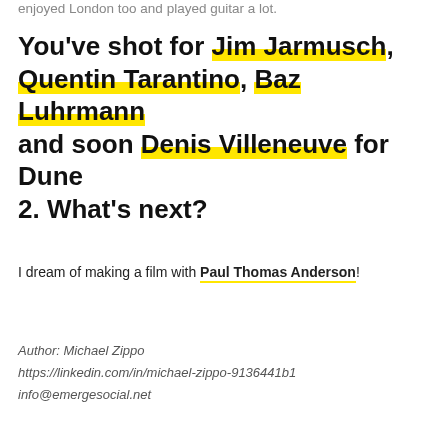enjoyed London too and played guitar a lot.
You've shot for Jim Jarmusch, Quentin Tarantino, Baz Luhrmann and soon Denis Villeneuve for Dune 2. What's next?
I dream of making a film with Paul Thomas Anderson!
Author: Michael Zippo
https://linkedin.com/in/michael-zippo-9136441b1
info@emergesocial.net